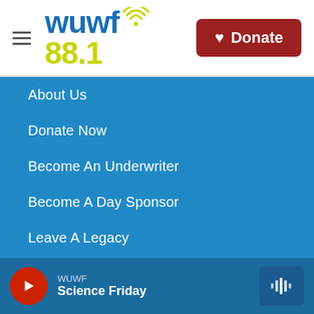[Figure (logo): WUWF 88.1 radio station logo with wifi signal icon in yellow-green, blue text, and Donate button in dark red]
About Us
Donate Now
Become An Underwriter
Become A Day Sponsor
Leave A Legacy
Search Our Site
Our Mission
Our Radio Schedule
WUWF
Science Friday